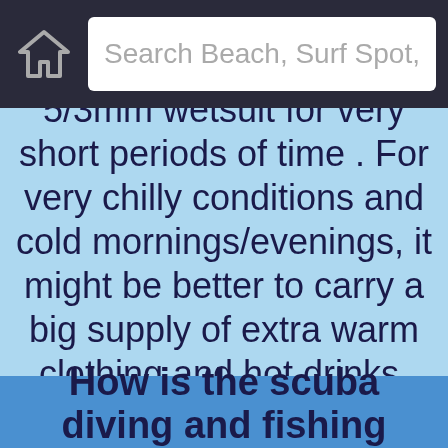Search Beach, Surf Spot,
5/3mm wetsuit for very short periods of time . For very chilly conditions and cold mornings/evenings, it might be better to carry a big supply of extra warm clothing and hot drinks.
How is the scuba diving and fishing